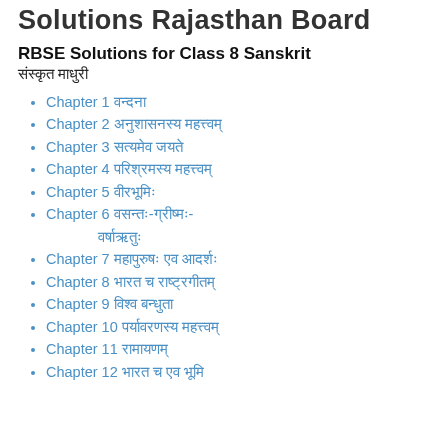Solutions Rajasthan Board
RBSE Solutions for Class 8 Sanskrit
संस्कृत माधुरी
Chapter 1 वन्दना
Chapter 2 अनुशासनस्य महत्त्वम्
Chapter 3 सत्यमेव जयते
Chapter 4 परिश्रमस्य महत्त्वम्
Chapter 5 वीरभूमिः
Chapter 6 वसन्तः-ग्रीष्मः-वर्षाऋतुः
Chapter 7 महापुरुषः एव आदर्शः
Chapter 8 भारत च राष्ट्रगीतम्
Chapter 9 विश्व बन्धुता
Chapter 10 पर्यावरणस्य महत्त्वम्
Chapter 11 रामायणम्
Chapter 12 भारत च एव भूमि